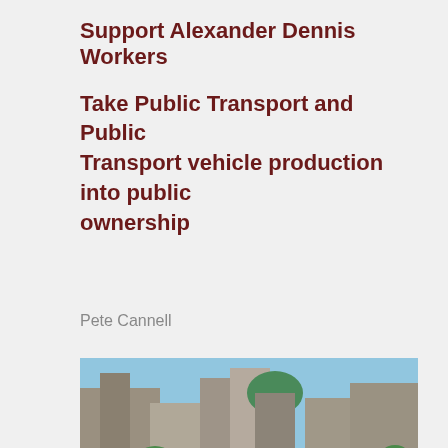Support Alexander Dennis Workers
Take Public Transport and Public Transport vehicle production into public ownership
Pete Cannell
[Figure (photo): A blue Alexander Dennis double-decker Airlink bus in an urban setting with historic buildings in the background, photographed in Edinburgh.]